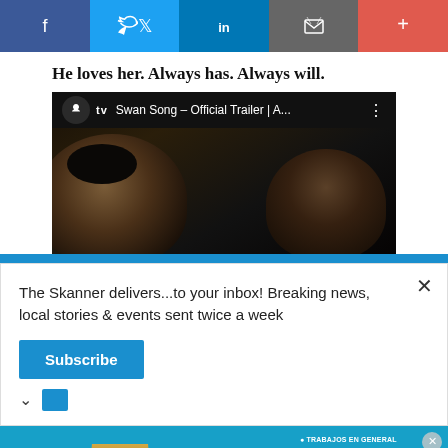[Figure (screenshot): Social share bar with Facebook, Twitter, LinkedIn, email, and more buttons]
He loves her. Always has. Always will.
[Figure (screenshot): Apple TV video thumbnail for Swan Song – Official Trailer | A... with dark video frame showing two faces]
The Skanner delivers...to your inbox! Breaking news, local stories & events sent twice a week
[Figure (screenshot): Constant Staffing advertisement in Spanish: Estamos Contratando, Bilingues, listing job types and phone number 713-714-8909]